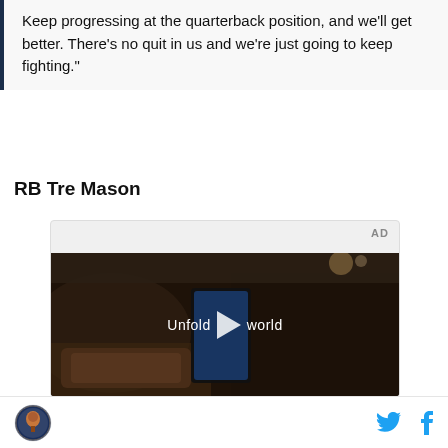Keep progressing at the quarterback position, and we'll get better. There's no quit in us and we're just going to keep fighting."
RB Tre Mason
[Figure (screenshot): Advertisement video player showing a woman in a car holding a smartphone, with text overlay reading 'Unfold [play button] world']
Logo icon, Twitter bird icon, Facebook f icon